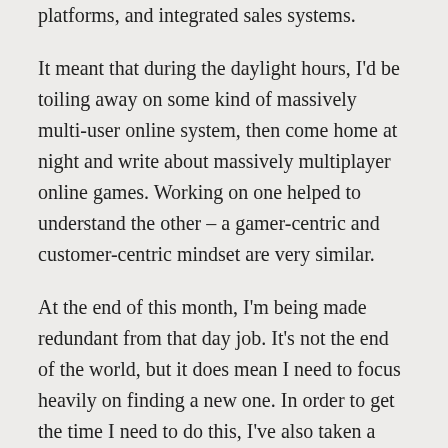platforms, and integrated sales systems.
It meant that during the daylight hours, I'd be toiling away on some kind of massively multi-user online system, then come home at night and write about massively multiplayer online games. Working on one helped to understand the other – a gamer-centric and customer-centric mindset are very similar.
At the end of this month, I'm being made redundant from that day job. It's not the end of the world, but it does mean I need to focus heavily on finding a new one. In order to get the time I need to do this, I've also taken a step back from ZAM. I will occasionally still write here and there – I enjoy it immensely and find it hugely rewarding – but my main focus is going to be on finding a new job.